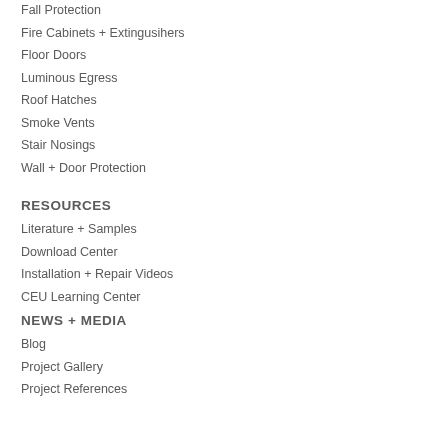Fall Protection
Fire Cabinets + Extingusihers
Floor Doors
Luminous Egress
Roof Hatches
Smoke Vents
Stair Nosings
Wall + Door Protection
RESOURCES
Literature + Samples
Download Center
Installation + Repair Videos
CEU Learning Center
NEWS + MEDIA
Blog
Project Gallery
Project References